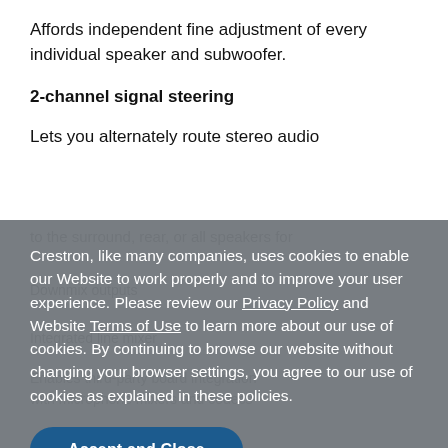Affords independent fine adjustment of every individual speaker and subwoofer.
2-channel signal steering
Lets you alternately route stereo audio
to the surround, rear, or all speakers for
Downmix outputs
Crestron, like many companies, uses cookies to enable our Website to work properly and to improve your user experience. Please review our Privacy Policy and Website Terms of Use to learn more about our use of cookies. By continuing to browse our website without changing your browser settings, you agree to our use of cookies as explained in these policies.
Integrated line mixer
Enables third-party board integration with microphone mixers and codecs
Accept and Close